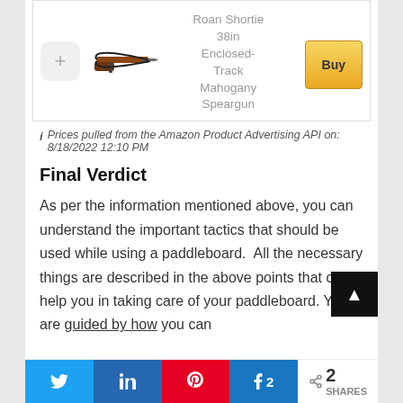[Figure (photo): Product card showing a speargun image with a plus icon, product title 'Roan Shortie 38in Enclosed-Track Mahogany Speargun', and a gold 'Buy' button]
i Prices pulled from the Amazon Product Advertising API on: 8/18/2022 12:10 PM
Final Verdict
As per the information mentioned above, you can understand the important tactics that should be used while using a paddleboard.  All the necessary things are described in the above points that can help you in taking care of your paddleboard. You are guided by how you can
[Figure (infographic): Social sharing bar with Twitter, LinkedIn, Pinterest, Facebook (showing count 2), and a share icon with '2 SHARES']